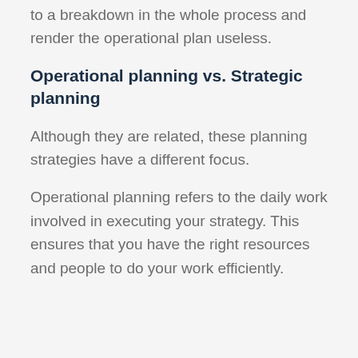to a breakdown in the whole process and render the operational plan useless.
Operational planning vs. Strategic planning
Although they are related, these planning strategies have a different focus.
Operational planning refers to the daily work involved in executing your strategy. This ensures that you have the right resources and people to do your work efficiently.